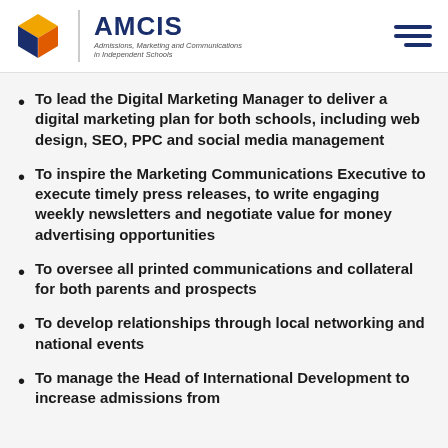AMCIS — Admissions, Marketing and Communications in Independent Schools
To lead the Digital Marketing Manager to deliver a digital marketing plan for both schools, including web design, SEO, PPC and social media management
To inspire the Marketing Communications Executive to execute timely press releases, to write engaging weekly newsletters and negotiate value for money advertising opportunities
To oversee all printed communications and collateral for both parents and prospects
To develop relationships through local networking and national events
To manage the Head of International Development to increase admissions from